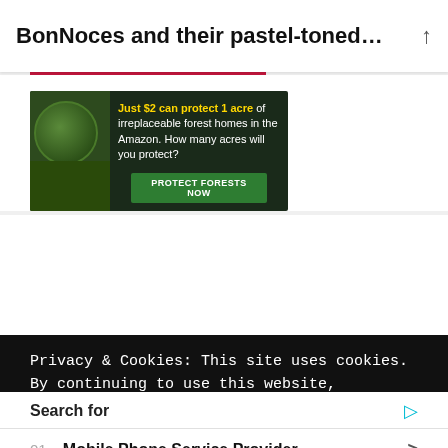BonNoces and their pastel-toned t...
[Figure (photo): Advertisement banner with forest/Amazon imagery showing a monkey. Text reads: Just $2 can protect 1 acre of irreplaceable forest homes in the Amazon. How many acres will you protect? Button: PROTECT FORESTS NOW]
Privacy & Cookies: This site uses cookies. By continuing to use this website, you agree to their use.
Search for
01. Mobile Phone Service Provider
02. Digital Employee Engagements
Yahoo! Search | Sponsored